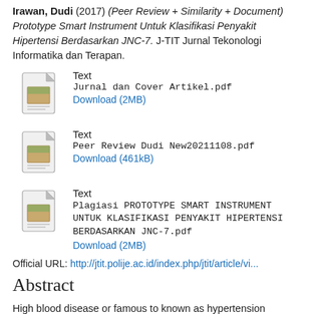Irawan, Dudi (2017) (Peer Review + Similarity + Document) Prototype Smart Instrument Untuk Klasifikasi Penyakit Hipertensi Berdasarkan JNC-7. J-TIT Jurnal Tekonologi Informatika dan Terapan.
Text
Jurnal dan Cover Artikel.pdf
Download (2MB)
Text
Peer Review Dudi New20211108.pdf
Download (461kB)
Text
Plagiasi PROTOTYPE SMART INSTRUMENT UNTUK KLASIFIKASI PENYAKIT HIPERTENSI BERDASARKAN JNC-7.pdf
Download (2MB)
Official URL: http://jtit.polije.ac.id/index.php/jtit/article/vi...
Abstract
High blood disease or famous to known as hypertension